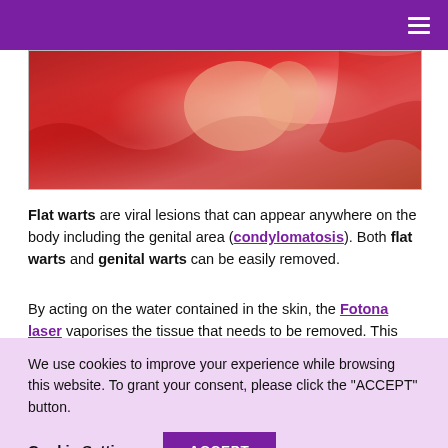Navigation menu
[Figure (photo): Photo of a person in a red dress, showing legs and draped red fabric, partial body view]
Flat warts are viral lesions that can appear anywhere on the body including the genital area (condylomatosis). Both flat warts and genital warts can be easily removed.
By acting on the water contained in the skin, the Fotona laser vaporises the tissue that needs to be removed. This
We use cookies to improve your experience while browsing this website. To grant your consent, please click the "ACCEPT" button.
Cookie Settings  ACCEPT